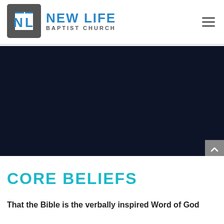[Figure (logo): New Life Baptist Church logo with NL monogram in blue and grey square bracket design]
[Figure (other): Dark navy blue banner/hero image area]
CORE BELIEFS
That the Bible is the verbally inspired Word of God